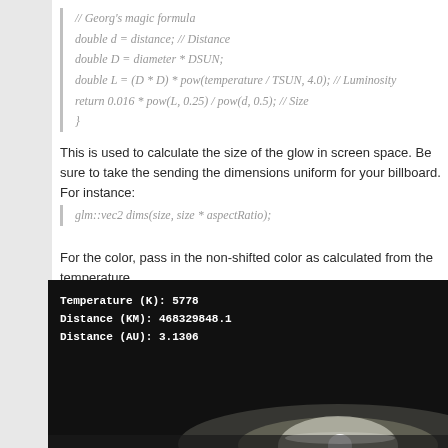// Georg's magic formula
double d = distance; // Distance
double D = diameter * DSUN;
double L = (D * D) * pow(temperature / TSUN, 4.0); // Luminosity
return 0.016 * pow(L, 0.25) / pow(d, 0.5); // Size
}
This is used to calculate the size of the glow in screen space. Be sure to take the sending the dimensions uniform for your billboard. For instance:
glm::vec2 dims(size, size * aspectRatio);
For the color, pass in the non-shifted color as calculated from the temperature.
[Figure (screenshot): Dark space scene screenshot showing a glowing star/sun effect at the bottom right. White text overlay reads: Temperature (K): 5778, Distance (KM): 468329848.1, Distance (AU): 3.1306]